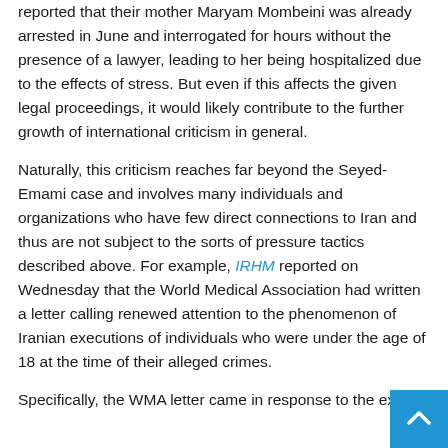reported that their mother Maryam Mombeini was already arrested in June and interrogated for hours without the presence of a lawyer, leading to her being hospitalized due to the effects of stress. But even if this affects the given legal proceedings, it would likely contribute to the further growth of international criticism in general.
Naturally, this criticism reaches far beyond the Seyed-Emami case and involves many individuals and organizations who have few direct connections to Iran and thus are not subject to the sorts of pressure tactics described above. For example, IRHM reported on Wednesday that the World Medical Association had written a letter calling renewed attention to the phenomenon of Iranian executions of individuals who were under the age of 18 at the time of their alleged crimes.
Specifically, the WMA letter came in response to the execu...